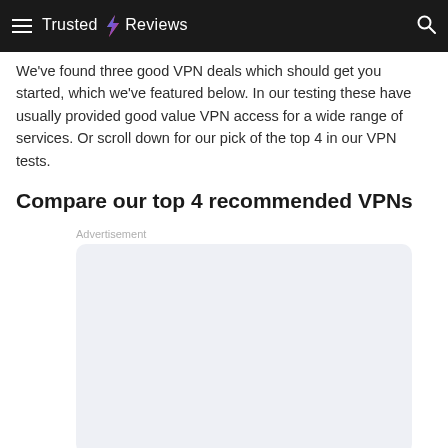Trusted Reviews
We've found three good VPN deals which should get you started, which we've featured below. In our testing these have usually provided good value VPN access for a wide range of services. Or scroll down for our pick of the top 4 in our VPN tests.
Compare our top 4 recommended VPNs
[Figure (other): Advertisement placeholder box with light blue-gray background and rounded corners, labeled 'Advertisement' above it]